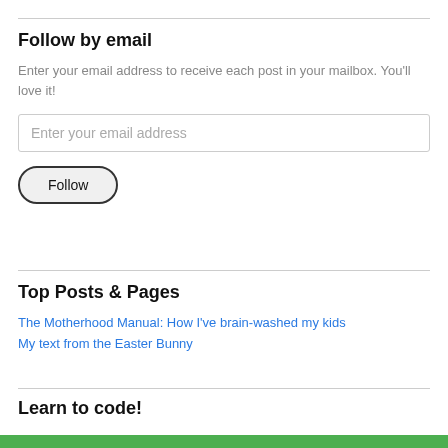Follow by email
Enter your email address to receive each post in your mailbox. You'll love it!
Enter your email address
Follow
Top Posts & Pages
The Motherhood Manual: How I've brain-washed my kids
My text from the Easter Bunny
Learn to code!